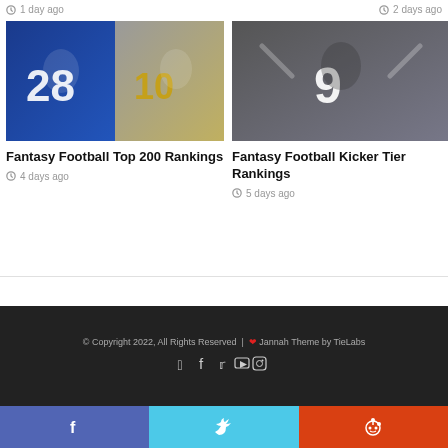1 day ago
2 days ago
[Figure (photo): Two NFL players: running back #28 in Colts blue and wide receiver #10 in Rams yellow uniform]
[Figure (photo): NFL kicker #9 in black jersey with arms raised celebrating]
Fantasy Football Top 200 Rankings
4 days ago
Fantasy Football Kicker Tier Rankings
5 days ago
You must log in to post a comment.
© Copyright 2022, All Rights Reserved | ❤ Jannah Theme by TieLabs